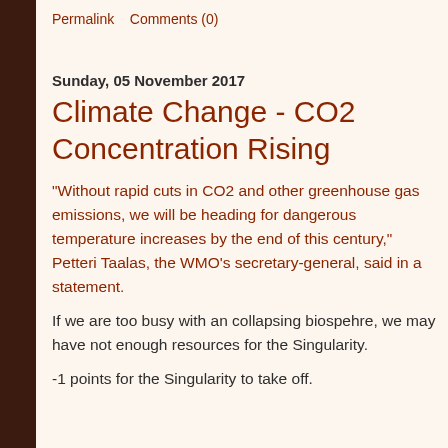Permalink   Comments (0)
Sunday, 05 November 2017
Climate Change - CO2 Concentration Rising
"Without rapid cuts in CO2 and other greenhouse gas emissions, we will be heading for dangerous temperature increases by the end of this century," Petteri Taalas, the WMO's secretary-general, said in a statement.
If we are too busy with an collapsing biospehre, we may have not enough resources for the Singularity.
-1 points for the Singularity to take off.